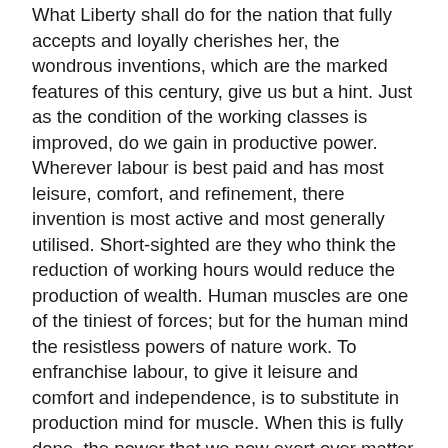What Liberty shall do for the nation that fully accepts and loyally cherishes her, the wondrous inventions, which are the marked features of this century, give us but a hint. Just as the condition of the working classes is improved, do we gain in productive power. Wherever labour is best paid and has most leisure, comfort, and refinement, there invention is most active and most generally utilised. Short-sighted are they who think the reduction of working hours would reduce the production of wealth. Human muscles are one of the tiniest of forces; but for the human mind the resistless powers of nature work. To enfranchise labour, to give it leisure and comfort and independence, is to substitute in production mind for muscle. When this is fully done, the power that we now exert over matter will be as nothing to that we shall have.
It has been said that, from the very increase of our numbers, the American Union must in time necessarily break up. I do not believe it. Even now, while the memories